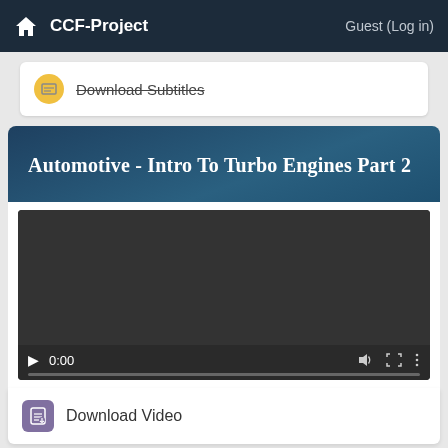CCF-Project   Guest (Log in)
Download Subtitles
Automotive - Intro To Turbo Engines Part 2
[Figure (screenshot): Embedded video player showing a dark/black video area with playback controls: play button, time display 0:00, volume icon, fullscreen icon, and more options icon. Progress bar at bottom.]
Download Video